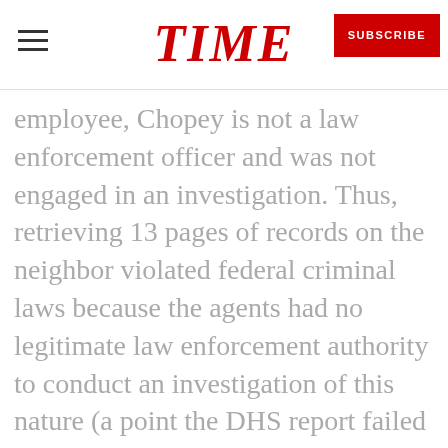TIME | SUBSCRIBE
employee, Chopey is not a law enforcement officer and was not engaged in an investigation. Thus, retrieving 13 pages of records on the neighbor violated federal criminal laws because the agents had no legitimate law enforcement authority to conduct an investigation of this nature (a point the DHS report failed to note).
Also left unsaid in the DHS report was that one of the purposes of the Prowler team is to look for possible snipers as Marine One lifts off with the president from the White House grounds. On July 4,